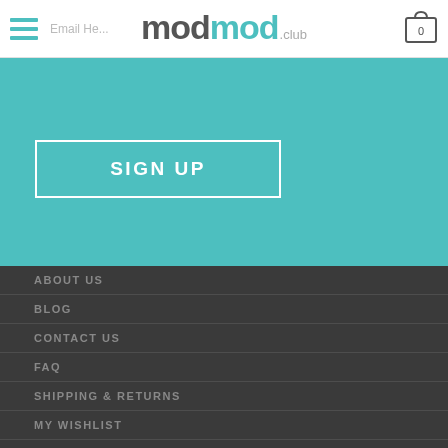modmod.club — navigation header with hamburger menu, email input placeholder, logo, and cart icon (0)
[Figure (screenshot): SIGN UP button with white border on teal background]
ABOUT US
BLOG
CONTACT US
FAQ
SHIPPING & RETURNS
MY WISHLIST